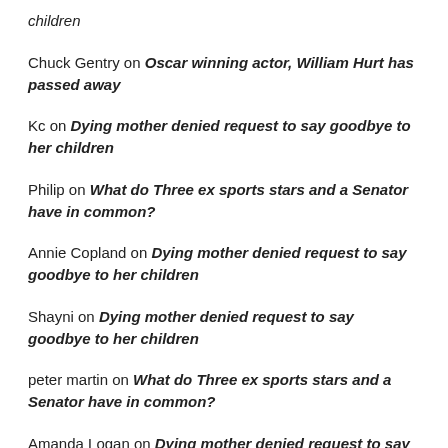children
Chuck Gentry on Oscar winning actor, William Hurt has passed away
Kc on Dying mother denied request to say goodbye to her children
Philip on What do Three ex sports stars and a Senator have in common?
Annie Copland on Dying mother denied request to say goodbye to her children
Shayni on Dying mother denied request to say goodbye to her children
peter martin on What do Three ex sports stars and a Senator have in common?
Amanda Logan on Dying mother denied request to say goodbye to her children
Linda on Dying mother denied request to say goodbye to her